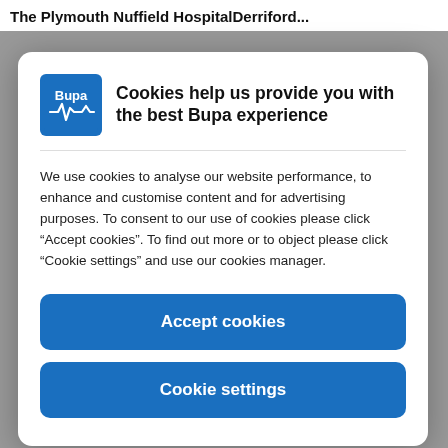The Plymouth Nuffield HospitalDerriford...
[Figure (logo): Bupa logo — white Bupa text with heartbeat line on blue square background]
Cookies help us provide you with the best Bupa experience
We use cookies to analyse our website performance, to enhance and customise content and for advertising purposes. To consent to our use of cookies please click “Accept cookies”. To find out more or to object please click “Cookie settings” and use our cookies manager.
Accept cookies
Cookie settings